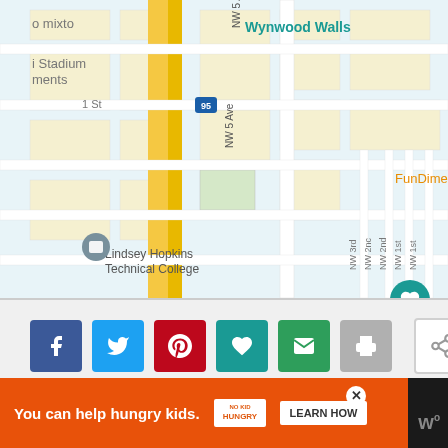[Figure (map): Google Maps showing location pin at 2250 NW 2nd Ave, Miami, FL 33127. Shows Wynwood Walls, FunDimension, Lindsey Hopkins Technical College, nearby streets NW 20th St, NW 21st St, NW 22 St, NE 23rd, N Miami Ave, NW 5 Ave, NW 3rd, NW 2nd, NW 1st, highway I-95.]
[Figure (screenshot): Social sharing buttons row: Facebook (blue), Twitter (blue), Pinterest (red), Favorites heart (teal), Email (green), Print (gray), Share (white with icon)]
ADVERTISEMENT
[Figure (screenshot): What's Next panel showing thumbnail image and text 'WHAT'S NEXT → Art Basel Free Transportation']
[Figure (screenshot): Bottom advertisement bar: orange background with text 'You can help hungry kids.' No Kid Hungry logo, LEARN HOW button, close X button, W logo on dark background.]